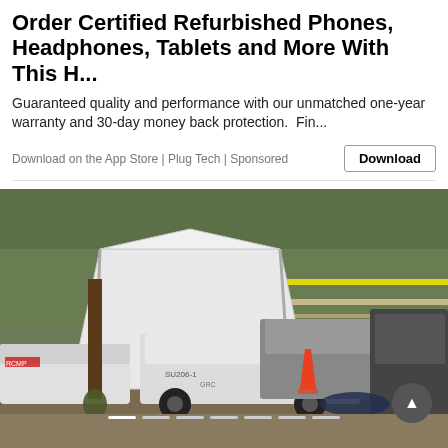Order Certified Refurbished Phones, Headphones, Tablets and More With This H...
Guaranteed quality and performance with our unmatched one-year warranty and 30-day money back protection.  Fin...
Download on the App Store | Plug Tech | Sponsored
[Figure (photo): Crime scene photo showing police vehicles, a white forensic tent, orange traffic cone, and police tape in a parking lot with trees in background. Multiple RCMP vehicles visible.]
[Figure (infographic): Blue banner advertisement reading DEFEND OUR PUBLIC SERVICES with bcgeu logo]